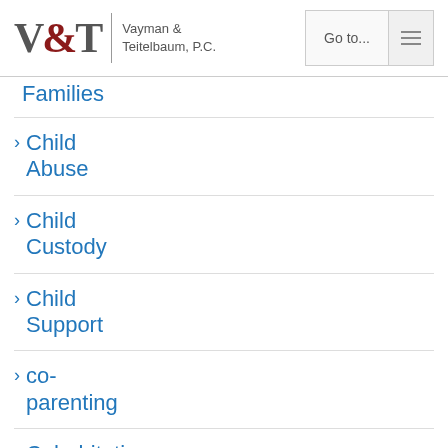V&T Vayman & Teitelbaum, P.C. | Go to...
Families
Child Abuse
Child Custody
Child Support
co-parenting
Cohabitation
Contempt
Death